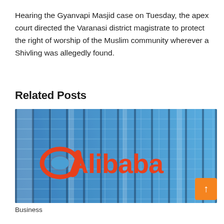Hearing the Gyanvapi Masjid case on Tuesday, the apex court directed the Varanasi district magistrate to protect the right of worship of the Muslim community wherever a Shivling was allegedly found.
Related Posts
[Figure (photo): Photo of Alibaba corporate building with blue glass facade and large red Alibaba logo and brand symbol on the exterior.]
Business